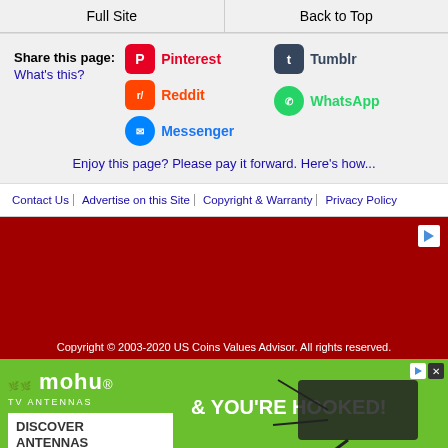Full Site | Back to Top
Share this page: What's this? Pinterest Reddit Messenger Tumblr WhatsApp
Enjoy this page? Please pay it forward. Here's how...
Contact Us | Advertise on this Site | Copyright & Warranty | Privacy Policy
[Figure (other): Dark red advertisement banner area with play/ad icon in top right]
Copyright © 2003-2020 US Coins Values Advisor. All rights reserved.
[Figure (other): Mohu TV Antennas advertisement banner on green background with text '& YOU'RE HOOKED!' and antenna image]